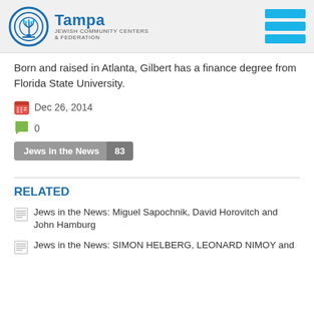Tampa Jewish Community Centers & Federation
Born and raised in Atlanta, Gilbert has a finance degree from Florida State University.
Dec 26, 2014
0
Jews in the News 83
RELATED
Jews in the News: Miguel Sapochnik, David Horovitch and John Hamburg
Jews in the News: SIMON HELBERG, LEONARD NIMOY and